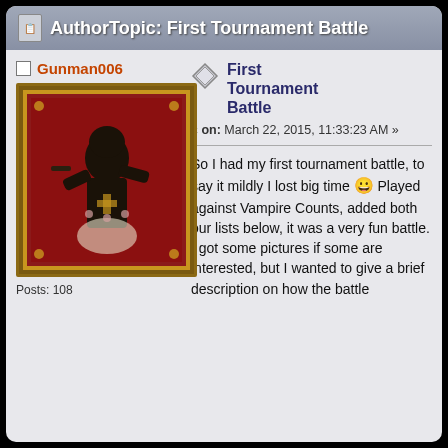AuthorTopic: First Tournament Battle
Gunman006
[Figure (illustration): Medieval heraldic shield avatar image showing a dark armored knight figure on a red background with ornate golden border]
Posts: 108
First Tournament Battle
« on: March 22, 2015, 11:33:23 AM »
So I had my first tournament battle, to say it mildly I lost big time 😀 Played against Vampire Counts, added both our lists below, it was a very fun battle. I got some pictures if some are interested, but I wanted to give a brief description on how the battle